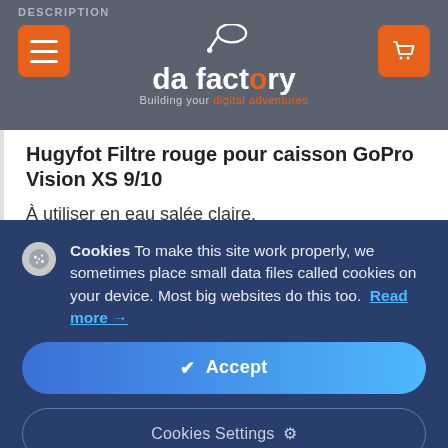DESCRIPTION
[Figure (logo): da factory logo with camera lens icon and tagline 'Building your digital adventures']
Hugyfot Filtre rouge pour caisson GoPro Vision XS 9/10
À utiliser en eau salée claire.
Convient aux caissons Vision XS Hero 9/10
🍪 Cookies To make this site work properly, we sometimes place small data files called cookies on your device. Most big websites do this too.  Read more →
✔ Accept
Cookies Settings ⚙